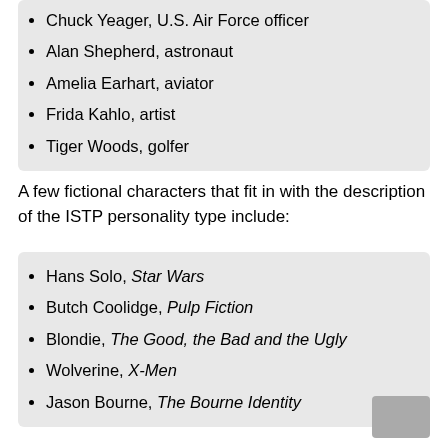Chuck Yeager, U.S. Air Force officer
Alan Shepherd, astronaut
Amelia Earhart, aviator
Frida Kahlo, artist
Tiger Woods, golfer
A few fictional characters that fit in with the description of the ISTP personality type include:
Hans Solo, Star Wars
Butch Coolidge, Pulp Fiction
Blondie, The Good, the Bad and the Ugly
Wolverine, X-Men
Jason Bourne, The Bourne Identity